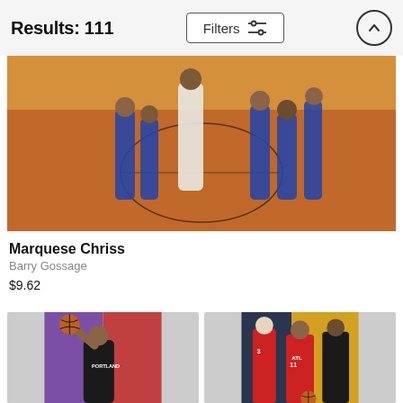Results: 111
Filters
[Figure (photo): Basketball game photo: Players on an orange court, one player in white uniform surrounded by players in blue Pistons uniforms]
Marquese Chriss
Barry Gossage
$9.62
[Figure (photo): Basketball player in Portland Trail Blazers uniform holding ball up on purple/red background]
[Figure (photo): Three Atlanta Hawks players in red jerseys posing on dark blue/yellow background]